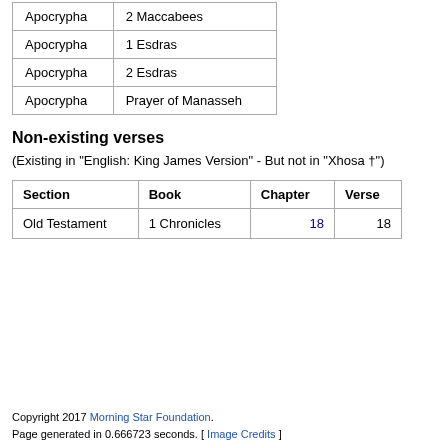| Section | Book |
| --- | --- |
| Apocrypha | 2 Maccabees |
| Apocrypha | 1 Esdras |
| Apocrypha | 2 Esdras |
| Apocrypha | Prayer of Manasseh |
Non-existing verses
(Existing in "English: King James Version" - But not in "Xhosa †")
| Section | Book | Chapter | Verse |
| --- | --- | --- | --- |
| Old Testament | 1 Chronicles | 18 | 18 |
Copyright 2017 Morning Star Foundation.
Page generated in 0.666723 seconds. [ Image Credits ]